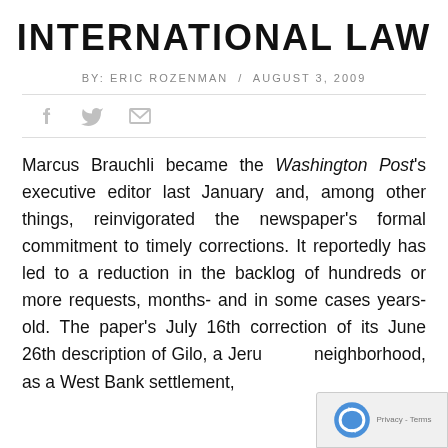INTERNATIONAL LAW
BY: ERIC ROZENMAN / AUGUST 3, 2009
[Figure (other): Social sharing icons: Facebook, Twitter, Email]
Marcus Brauchli became the Washington Post's executive editor last January and, among other things, reinvigorated the newspaper's formal commitment to timely corrections. It reportedly has led to a reduction in the backlog of hundreds or more requests, months- and in some cases years-old. The paper's July 16th correction of its June 26th description of Gilo, a Jerusalem neighborhood, as a West Bank settlement,